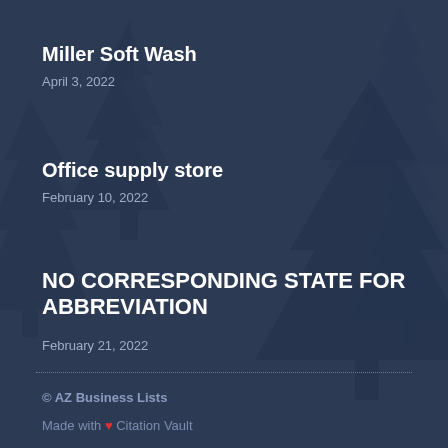Miller Soft Wash
April 3, 2022
Office supply store
February 10, 2022
NO CORRESPONDING STATE FOR ABBREVIATION
February 21, 2022
© AZ Business Lists
Made with ❤ Citation Vault